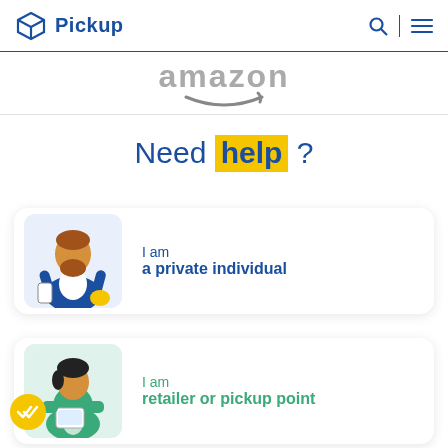Pickup
[Figure (logo): Amazon logo (partially visible, greyed out) in a horizontal strip]
Need help ?
[Figure (illustration): Illustration of a bearded man in blue suit holding a phone, on light blue background]
I am
a private individual
[Figure (illustration): Illustration of a woman in green apron holding a tablet, on light green background, with yellow badge containing double checkmark]
I am
retailer or pickup point